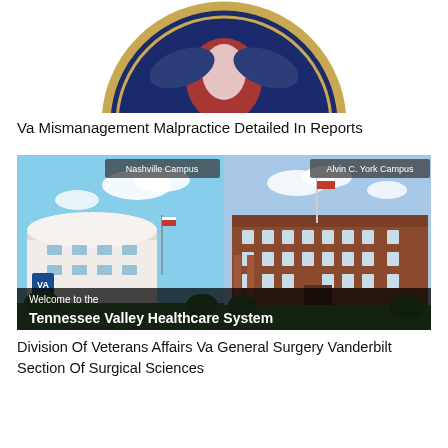[Figure (logo): Partial view of United States of America official seal/emblem with gold and dark blue coloring]
Va Mismanagement Malpractice Detailed In Reports
[Figure (photo): Two-panel photo showing Nashville Campus (modern white building) and Alvin C. York Campus (historic brick building) with overlay text 'Welcome to the Tennessee Valley Healthcare System']
Division Of Veterans Affairs Va General Surgery Vanderbilt Section Of Surgical Sciences